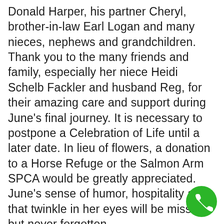Donald Harper, his partner Cheryl, brother-in-law Earl Logan and many nieces, nephews and grandchildren. Thank you to the many friends and family, especially her niece Heidi Schelb Fackler and husband Reg, for their amazing care and support during June's final journey. It is necessary to postpone a Celebration of Life until a later date. In lieu of flowers, a donation to a Horse Refuge or the Salmon Arm SPCA would be greatly appreciated. June's sense of humor, hospitality and that twinkle in her eyes will be missed but never forgotten.
[Figure (other): Green circular phone/call button icon in bottom-right corner]